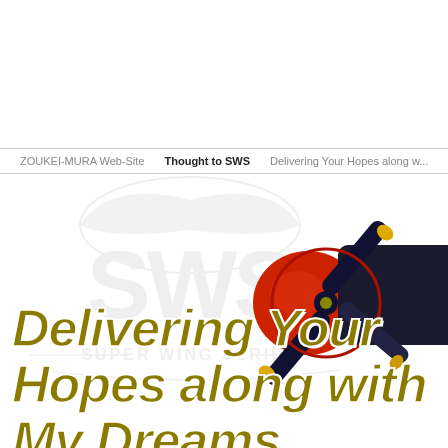ZOUKEI-MURA Web-Site   Thought to SWS   Delivering Your Hopes along w...
[Figure (logo): SWS Super Wing Series watermark logo in light gray]
[Figure (photo): Red and dark blue propeller aircraft nose with black propeller blades, partially cropped on the right side]
Delivering Your Hopes along with My Dreams